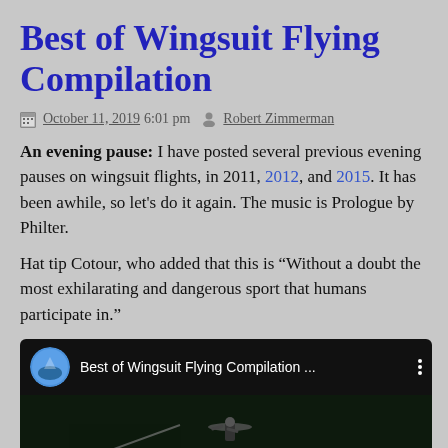Best of Wingsuit Flying Compilation
October 11, 2019 6:01 pm  Robert Zimmerman
An evening pause: I have posted several previous evening pauses on wingsuit flights, in 2011, 2012, and 2015. It has been awhile, so let's do it again. The music is Prologue by Philter.
Hat tip Cotour, who added that this is “Without a doubt the most exhilarating and dangerous sport that humans participate in.”
[Figure (screenshot): YouTube video embed showing 'Best of Wingsuit Flying Compilation ...' with a channel icon and video thumbnail of a wingsuit flyer above green landscape]